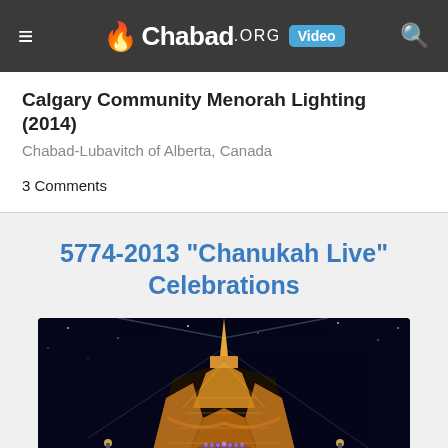Chabad.ORG Video
Calgary Community Menorah Lighting (2014)
Chabad-Lubavitch of Alberta, Canada
3 Comments
5774-2013 "Chanukah Live" Celebrations
[Figure (photo): Night photo of the Eiffel Tower lit up in orange/gold with a menorah (Hanukkah lamp) visible in front with purple/blue lights, taken from ground level looking up.]